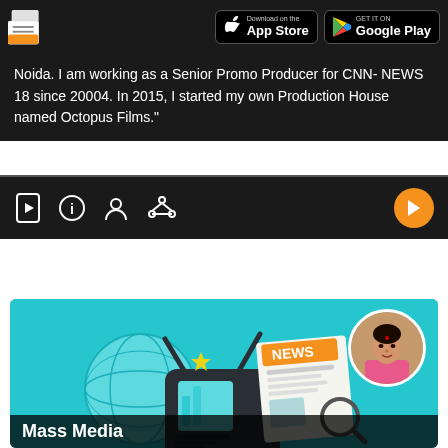[Figure (screenshot): App store download badges — Apple App Store and Google Play — on dark header bar]
Noida. I am working as a Senior Promo Producer for CNN- NEWS 18 since 20004. In 2015, I started my own Production House named Octopus Films."
[Figure (screenshot): Navigation icon bar with video, info, profile and settings icons, and an orange play button on right]
[Figure (illustration): Mass Media course card showing a teal background with illustrated TV, globe, newspaper with NEWS banner, magnifying glass, and a circular profile photo of an instructor woman in pink saree]